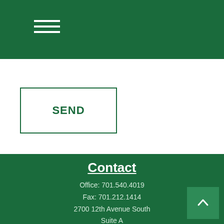[Figure (other): Hamburger menu icon with three horizontal white lines on dark green background]
[Figure (other): SEND button with green border on white background]
Contact
Office: 701.540.4019
Fax: 701.212.1414
2700 12th Avenue South
Suite A
Fargo, ND 58103
parker@goalquestfinancial.com
Quick Links
Retirement
Investment
Estate
Insurance